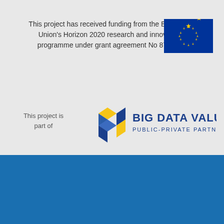This project has received funding from the European Union's Horizon 2020 research and innovation programme under grant agreement No 871473
[Figure (logo): European Union flag: blue rectangle with circle of 12 yellow stars]
This project is part of
[Figure (logo): BIG DATA VALUE PUBLIC-PRIVATE PARTNERSHIP logo with geometric hexagonal icon in blue and yellow]
We use cookies on this site to enhance your user experience
By clicking the Accept button, you agree to us doing so. More info
Accept
No, thanks